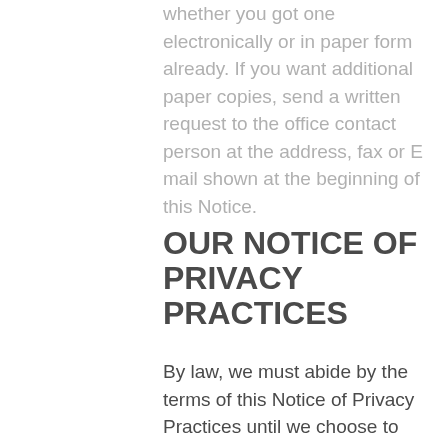whether you got one electronically or in paper form already. If you want additional paper copies, send a written request to the office contact person at the address, fax or E mail shown at the beginning of this Notice.
OUR NOTICE OF PRIVACY PRACTICES
By law, we must abide by the terms of this Notice of Privacy Practices until we choose to change it. We reserve the right to change this